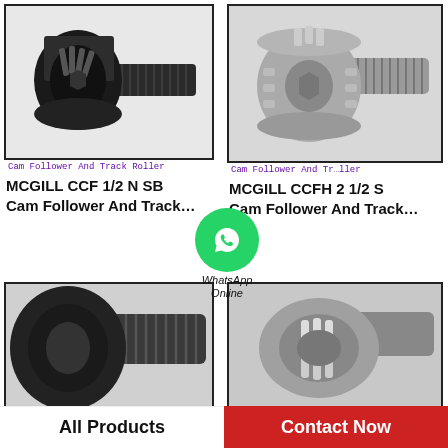[Figure (photo): Black cam follower and track roller bearing with threaded stud, top-left product image. Caption: Cam Follower And Track Roller]
Cam Follower And Track Roller
[Figure (photo): Silver/grey cam follower and track roller bearing with threaded stud, top-right product image. Caption: Cam Follower And Track Roller]
Cam Follower And Track Roller
MCGILL CCF 1/2 N SB Cam Follower And Track…
MCGILL CCFH 2 1/2 S Cam Follower And Track…
[Figure (photo): Close-up of dark cam follower bearing with threaded stud, bottom-left product image]
[Figure (photo): Close-up of grey cam follower bearing cross-section showing rollers, bottom-right product image]
[Figure (logo): WhatsApp green circle logo with phone icon, and text WhatsApp Online]
All Products
Contact Now